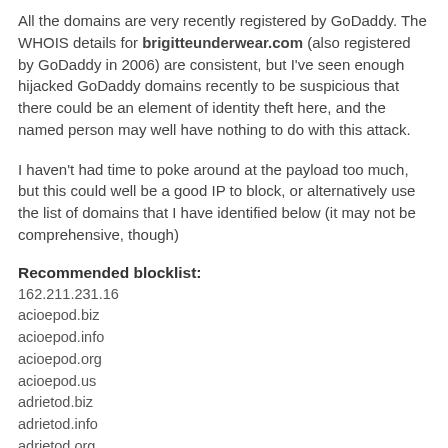All the domains are very recently registered by GoDaddy. The WHOIS details for brigitteunderwear.com (also registered by GoDaddy in 2006) are consistent, but I've seen enough hijacked GoDaddy domains recently to be suspicious that there could be an element of identity theft here, and the named person may well have nothing to do with this attack.
I haven't had time to poke around at the payload too much, but this could well be a good IP to block, or alternatively use the list of domains that I have identified below (it may not be comprehensive, though)
Recommended blocklist:
162.211.231.16
acioepod.biz
acioepod.info
acioepod.org
acioepod.us
adrietod.biz
adrietod.info
adrietod.org